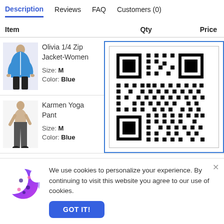Description | Reviews | FAQ | Customers (0)
| Item | Qty | Price |
| --- | --- | --- |
| Olivia 1/4 Zip Jacket-Women
Size: M
Color: Blue | 1 | $70.00 |
| Karmen Yoga Pant
Size: M
Color: Blue |  |  |
[Figure (other): QR code popup overlay with Live Chat button]
We use cookies to personalize your experience. By continuing to visit this website you agree to our use of cookies.
GOT IT!